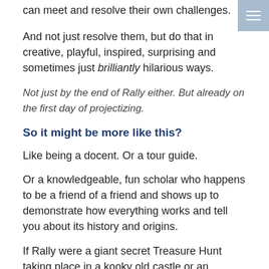can meet and resolve their own challenges.
And not just resolve them, but do that in creative, playful, inspired, surprising and sometimes just brilliantly hilarious ways.
Not just by the end of Rally either. But already on the first day of projectizing.
So it might be more like this?
Like being a docent. Or a tour guide.
Or a knowledgeable, fun scholar who happens to be a friend of a friend and shows up to demonstrate how everything works and tell you about its history and origins.
If Rally were a giant secret Treasure Hunt taking place in a kooky old castle or an enchanted forest, I would be